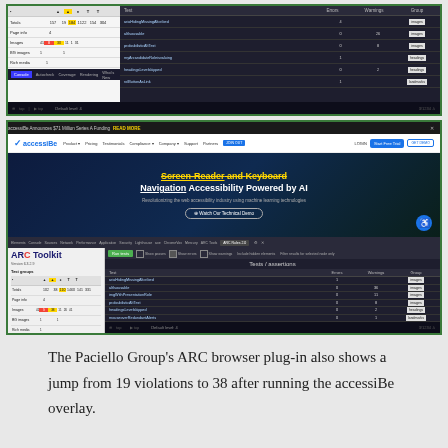[Figure (screenshot): Screenshot of ARC Toolkit browser extension showing a tests/assertions table with test names, errors, warnings, and group columns. Top portion of a two-part screenshot showing accessibility violations.]
[Figure (screenshot): Screenshot showing accessiBe website with hero banner reading 'Screen-Reader and Keyboard Navigation Accessibility Powered by AI', below which is the ARC Toolkit panel showing Tests/assertions table with violations jumping from 19 to 38.]
The Paciello Group's ARC browser plug-in also shows a jump from 19 violations to 38 after running the accessiBe overlay.